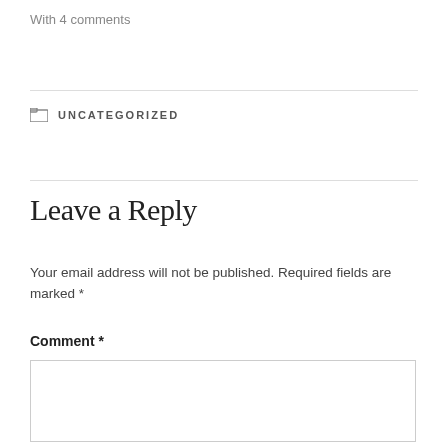With 4 comments
UNCATEGORIZED
Leave a Reply
Your email address will not be published. Required fields are marked *
Comment *